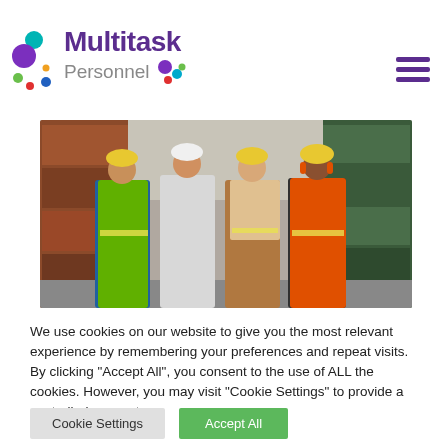[Figure (logo): Multitask Personnel logo with colorful circle icons and purple text]
[Figure (photo): Four construction workers in hard hats and high-visibility vests standing together in a shipping container yard, smiling]
We use cookies on our website to give you the most relevant experience by remembering your preferences and repeat visits. By clicking "Accept All", you consent to the use of ALL the cookies. However, you may visit "Cookie Settings" to provide a controlled consent.
[Figure (other): Cookie Settings button (grey) and Accept All button (green)]